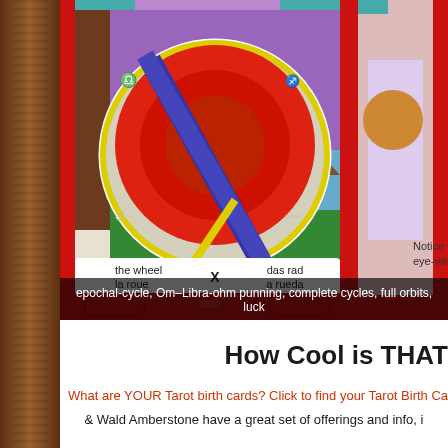[Figure (illustration): Tarot card 'The Wheel' (X) shown with colorful circular wheel design, red orange and blue illustration with astrological symbols. Card text shows 'the wheel / la roue', 'X', 'das rad / a rueda'. Partially visible second card on right edge.]
epochal-cycle, Om–Libra-ohm punning, complete cycles, full orbits, luck
How Cool is THAT
What are YOUR Tarot birth cards? Click to find your Tarot Birth Card
& Wald Amberstone have a great set of offerings and info, i